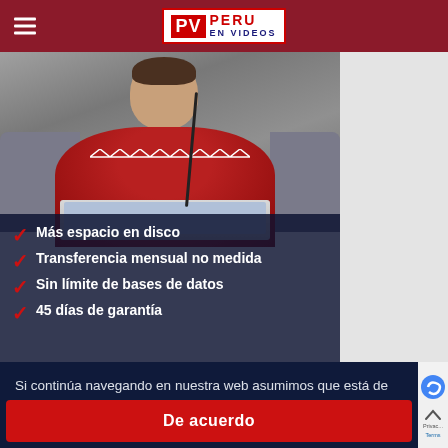PV PERU EN VIDEOS
[Figure (photo): Man in red patterned sweater smiling while using a laptop on a couch, with a dark overlay showing checklist items: Más espacio en disco, Transferencia mensual no medida, Sin límite de bases de datos, 45 días de garantía]
✓ Más espacio en disco
✓ Transferencia mensual no medida
✓ Sin límite de bases de datos
✓ 45 días de garantía
Si continúa navegando en nuestra web asumimos que está de acuerdo con nuestra política de privacidad. Leer Más
De acuerdo